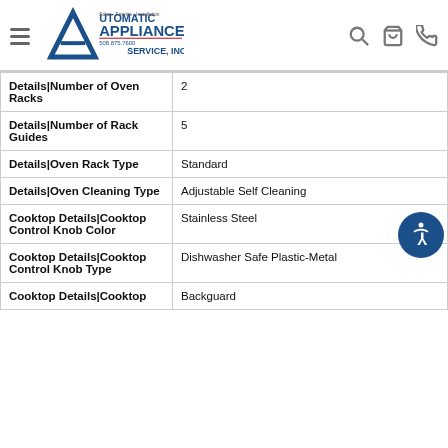Automatic Appliance Service, Inc. — Sales · Service · Installation — 508.875.7600
| Attribute | Value |
| --- | --- |
| Details|Number of Oven Racks | 2 |
| Details|Number of Rack Guides | 5 |
| Details|Oven Rack Type | Standard |
| Details|Oven Cleaning Type | Adjustable Self Cleaning |
| Cooktop Details|Cooktop Control Knob Color | Stainless Steel |
| Cooktop Details|Cooktop Control Knob Type | Dishwasher Safe Plastic-Metal |
| Cooktop Details|Cooktop... | Backguard |